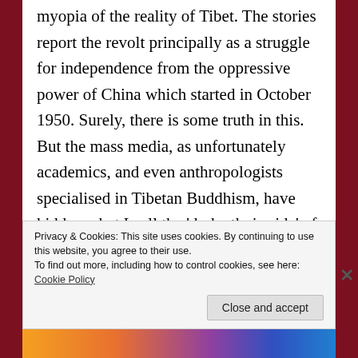myopia of the reality of Tibet. The stories report the revolt principally as a struggle for independence from the oppressive power of China which started in October 1950. Surely, there is some truth in this. But the mass media, as unfortunately academics, and even anthropologists specialised in Tibetan Buddhism, have hidden what I call the 'dark ethnic side' of the revolt. The reasons are multiple and I will not discuss them here, as I will not discuss here the figure of the Dalai Lama, who surely emanates
Privacy & Cookies: This site uses cookies. By continuing to use this website, you agree to their use.
To find out more, including how to control cookies, see here: Cookie Policy